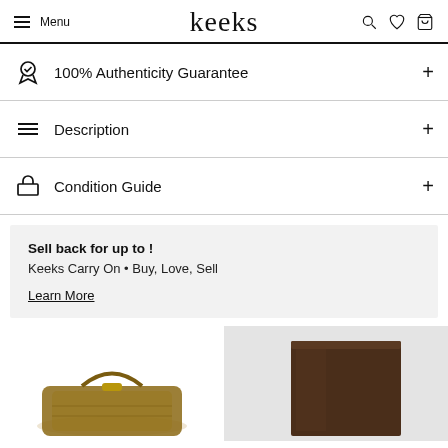Menu | keeks
100% Authenticity Guarantee
Description
Condition Guide
Sell back for up to !
Keeks Carry On • Buy, Love, Sell
Learn More
[Figure (photo): Two product images at the bottom: left shows a Louis Vuitton monogram bag, right shows a dark brown box/case on a light grey background]